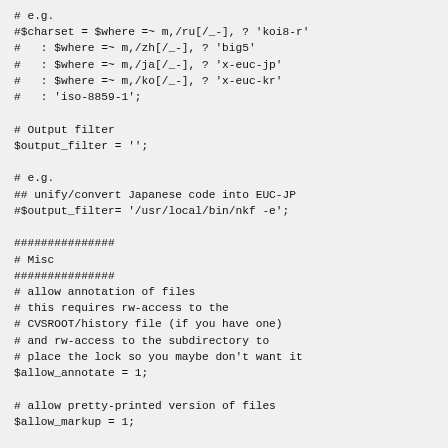# e.g.
#$charset = $where =~ m,/ru[/_-], ? 'koi8-r'
#   : $where =~ m,/zh[/_-], ? 'big5'
#   : $where =~ m,/ja[/_-], ? 'x-euc-jp'
#   : $where =~ m,/ko[/_-], ? 'x-euc-kr'
#   : 'iso-8859-1';

# Output filter
$output_filter = '';

# e.g.
## unify/convert Japanese code into EUC-JP
#$output_filter= '/usr/local/bin/nkf -e';

###############
# Misc
###############
# allow annotation of files
# this requires rw-access to the
# CVSROOT/history file (if you have one)
# and rw-access to the subdirectory to
# place the lock so you maybe don't want it
$allow_annotate = 1;

# allow pretty-printed version of files
$allow_markup = 1;

# allow compression with gzip
# of output if the Browser accepts